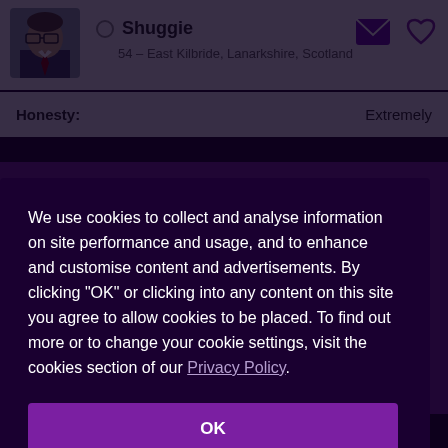[Figure (photo): Profile photo of a man wearing glasses in a suit]
Shuggie
54 – East Kilbride, Lanarkshire, Scotland
Honesty:   Extremely
Success Stories
Safety
We use cookies to collect and analyse information on site performance and usage, and to enhance and customise content and advertisements. By clicking "OK" or clicking into any content on this site you agree to allow cookies to be placed. To find out more or to change your cookie settings, visit the cookies section of our Privacy Policy.
OK